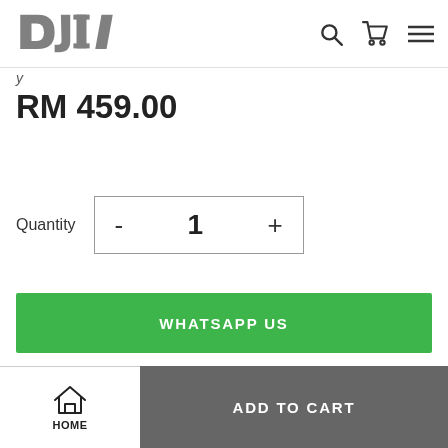DJI logo, search icon, cart icon, menu icon
RM 459.00
Quantity  -  1  +
WHATSAPP US
HOME  ADD TO CART